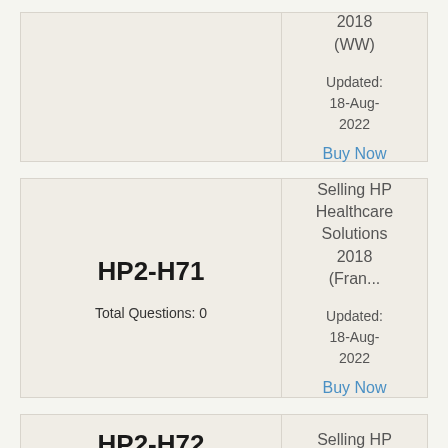| Code | Details |
| --- | --- |
|  | 2018 (WW)

Updated: 18-Aug-2022
Buy Now |
| Code | Details |
| --- | --- |
| HP2-H71

Total Questions: 0 | Selling HP Healthcare Solutions 2018 (Fran...

Updated: 18-Aug-2022
Buy Now |
| Code | Details |
| --- | --- |
| HP2-H72 | Selling HP... |